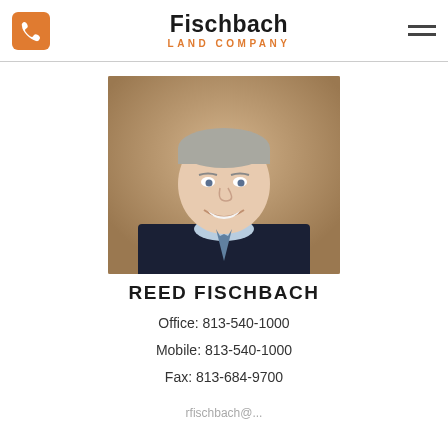Fischbach Land Company — phone icon and hamburger menu
[Figure (photo): Professional headshot of Reed Fischbach, a middle-aged man with short gray hair, smiling, wearing a dark suit and light blue shirt with a tie, against a warm brown background]
REED FISCHBACH
Office: 813-540-1000
Mobile: 813-540-1000
Fax: 813-684-9700
rfischbach@...